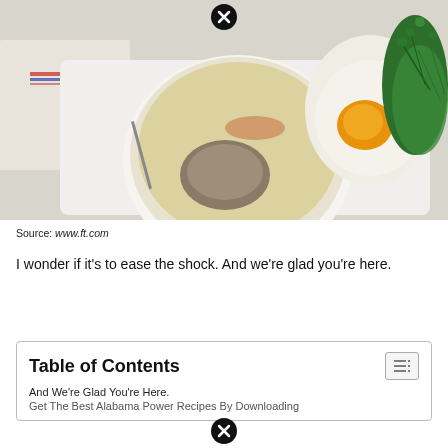[Figure (photo): Overhead food photography showing a white bowl with a cooked oyster or meat in a broth/sauce, a halved soft-boiled egg revealing orange yolk, fresh green herbs/microgreens, all on a white cutting board with a linen cloth visible.]
Source: www.ft.com
I wonder if it's to ease the shock. And we're glad you're here.
Table of Contents
And We're Glad You're Here.
Get The Best Alabama Power Recipes By Downloading